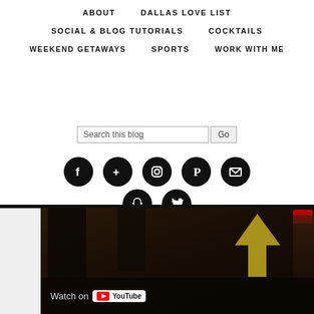ABOUT   DALLAS LOVE LIST
SOCIAL & BLOG TUTORIALS   COCKTAILS
WEEKEND GETAWAYS   SPORTS   WORK WITH ME
Search this blog [Go]
[Figure (screenshot): Social media icon links: Facebook, Google+, Instagram, Pinterest, Email, Snapchat, Twitter]
[Figure (screenshot): YouTube video thumbnail showing a dark bar scene with a golden upward arrow and Watch on YouTube overlay]